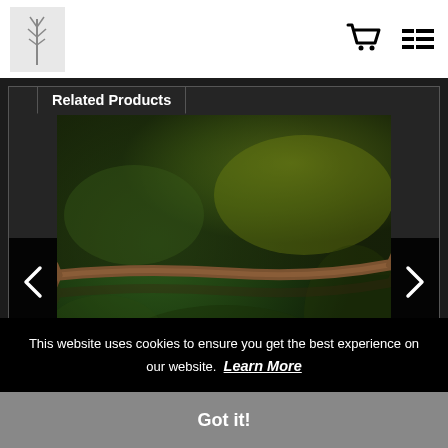Related Products
[Figure (photo): A long thin stick or branch with a Y-fork at one end, photographed on a dark green textured background. The stick extends nearly the full width of the frame.]
This website uses cookies to ensure you get the best experience on our website. Learn More
Got it!